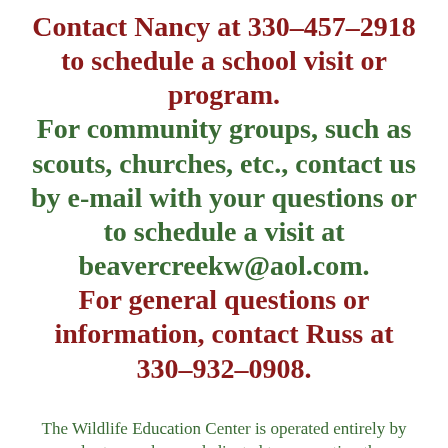Contact Nancy at 330-457-2918 to schedule a school visit or program. For community groups, such as scouts, churches, etc., contact us by e-mail with your questions or to schedule a visit at beavercreekw@aol.com. For general questions or information, contact Russ at 330-932-0908.
The Wildlife Education Center is operated entirely by volunteers who are dedicated to connecting the